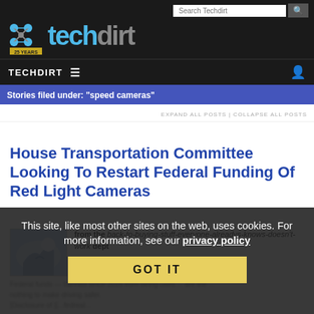Techdirt - 25 Years
Stories filed under: "speed cameras"
EXPAND ALL POSTS | COLLAPSE ALL POSTS
House Transportation Committee Looking To Restart Federal Funding Of Red Light Cameras
from the back-to-buying-stuff-everyone-alreadys-knows-doesn't-work dept
Thu, Jun 17th 2021 01:32pm - Tim Cushing
This site, like most other sites on the web, uses cookies. For more information, see our privacy policy
GOT IT